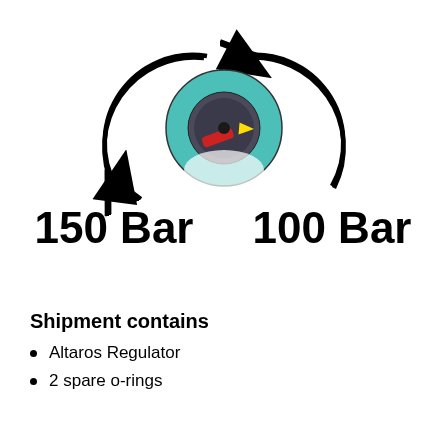[Figure (schematic): A pressure gauge/regulator shown with two circular arrows indicating rotation. Left arrow points down-left with label '150 Bar', right arrow points down-right with label '100 Bar'. The gauge shows a teal/green dial face with a red indicator and yellow arrow pointer.]
150 Bar    100 Bar
Shipment contains
Altaros Regulator
2 spare o-rings